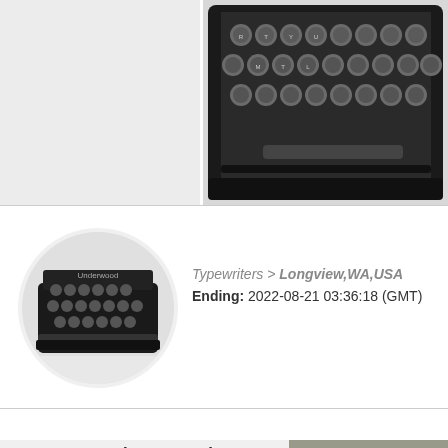[Figure (photo): Close-up photo of a typewriter keyboard/keys from above, showing round metal keys in a black case, on a light gray background]
[Figure (photo): Circular thumbnail photo of a vintage Underwood typewriter viewed from the front, showing keys and body]
Typewriters > Longview,WA,USA
Ending: 2022-08-21 03:36:18 (GMT)
Underwood Standard Portable Typewriter without Case 1920's Art Deco
[Figure (photo): Photo of a vintage Underwood typewriter showing the side/top with gold 'Underwood' lettering on a black body, sitting on a textured surface]